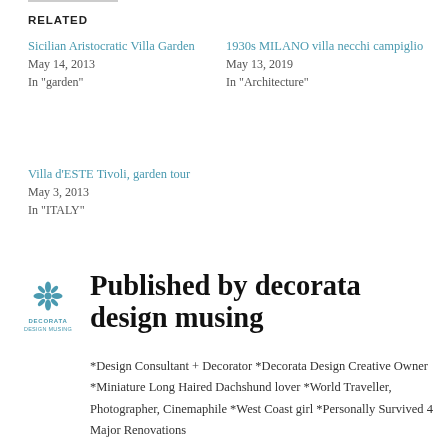RELATED
Sicilian Aristocratic Villa Garden
May 14, 2013
In "garden"
1930s MILANO villa necchi campiglio
May 13, 2019
In "Architecture"
Villa d'ESTE Tivoli, garden tour
May 3, 2013
In "ITALY"
[Figure (logo): Decorata design musing logo with teal flower/leaf icon above the text DECORATA]
Published by decorata design musing
*Design Consultant + Decorator *Decorata Design Creative Owner *Miniature Long Haired Dachshund lover *World Traveller, Photographer, Cinemaphile *West Coast girl *Personally Survived 4 Major Renovations